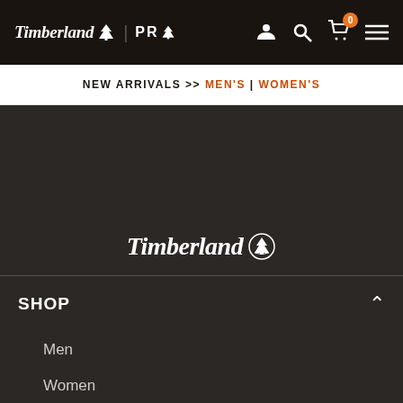Timberland PRO
NEW ARRIVALS >> MEN'S | WOMEN'S
[Figure (logo): Timberland logo with tree icon centered on dark background]
SHOP
Men
Women
Workwear
Kids